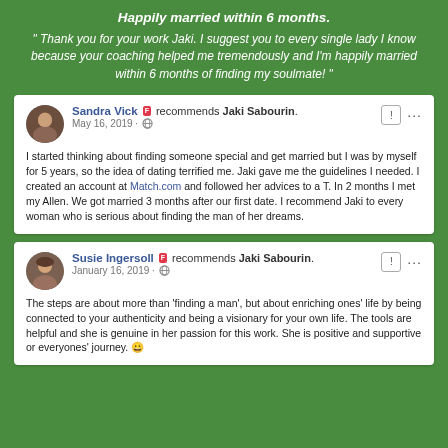Happily married within 6 months.
" Thank you for your work Jaki. I suggest you to every single lady I know because your coaching helped me tremendously and I'm happily married within 6 months of finding my soulmate! "
Sandra Vick recommends Jaki Sabourin. May 16, 2019 · I started thinking about finding someone special and get married but I was by myself for 5 years, so the idea of dating terrified me. Jaki gave me the guidelines I needed. I created an account at Match.com and followed her advices to a T. In 2 months I met my Allen. We got married 3 months after our first date. I recommend Jaki to every woman who is serious about finding the man of her dreams.
Susie Ingersoll recommends Jaki Sabourin. January 16, 2019 · The steps are about more than 'finding a man', but about enriching ones' life by being connected to your authenticity and being a visionary for your own life. The tools are helpful and she is genuine in her passion for this work. She is positive and supportive or everyones' journey. 😀